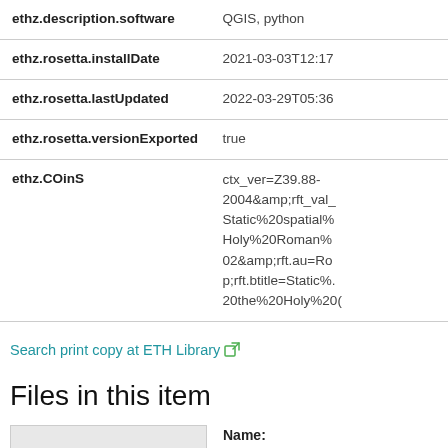| Field | Value |
| --- | --- |
| ethz.description.software | QGIS, python |
| ethz.rosetta.installDate | 2021-03-03T12:17 |
| ethz.rosetta.lastUpdated | 2022-03-29T05:36 |
| ethz.rosetta.versionExported | true |
| ethz.COinS | ctx_ver=Z39.88-2004&amp;rft_val_Static%20spatial%Holy%20Roman%02&amp;rft.au=Rop;rft.btitle=Static%20the%20Holy%20( |
Search print copy at ETH Library
Files in this item
Name: territories_auto_semi.prj